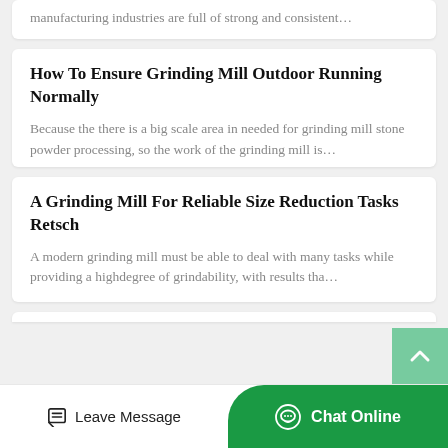manufacturing industries are full of strong and consistent…
How To Ensure Grinding Mill Outdoor Running Normally
Because the there is a big scale area in needed for grinding mill stone powder processing, so the work of the grinding mill is…
A Grinding Mill For Reliable Size Reduction Tasks Retsch
A modern grinding mill must be able to deal with many tasks while providing a highdegree of grindability, with results tha…
Leave Message | Chat Online